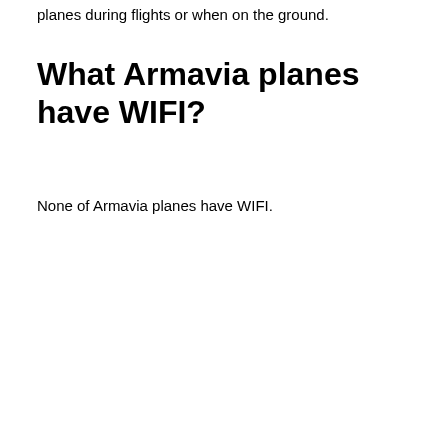planes during flights or when on the ground.
What Armavia planes have WIFI?
None of Armavia planes have WIFI.